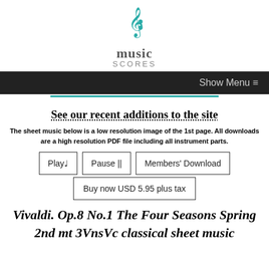[Figure (logo): Music Scores logo with teal treble/bass clef icon above the text 'music SCORES']
Show Menu ≡
See our recent additions to the site
The sheet music below is a low resolution image of the 1st page. All downloads are a high resolution PDF file including all instrument parts.
Play♩  Pause ||  Members' Download  Buy now USD 5.95 plus tax
Vivaldi. Op.8 No.1 The Four Seasons Spring 2nd mt 3VnsVc classical sheet music